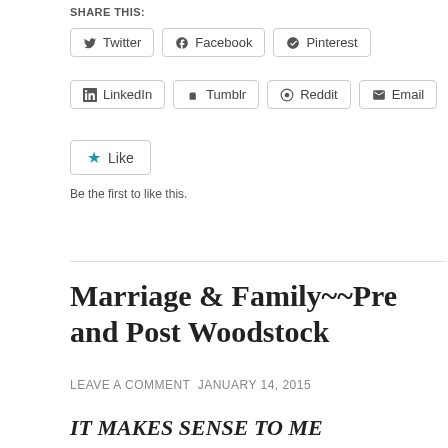SHARE THIS:
Twitter | Facebook | Pinterest | LinkedIn | Tumblr | Reddit | Email
Like
Be the first to like this.
Marriage & Family~~Pre and Post Woodstock
LEAVE A COMMENT JANUARY 14, 2015
IT MAKES SENSE TO ME